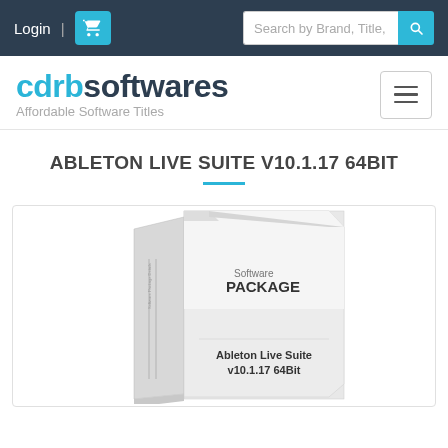Login | [cart] | Search by Brand, Title, [search button]
cdrbsoftwares - Affordable Software Titles
ABLETON LIVE SUITE V10.1.17 64BIT
[Figure (photo): White software package box labeled 'Software PACKAGE' with 'Ableton Live Suite v10.1.17 64Bit' printed on the front face]